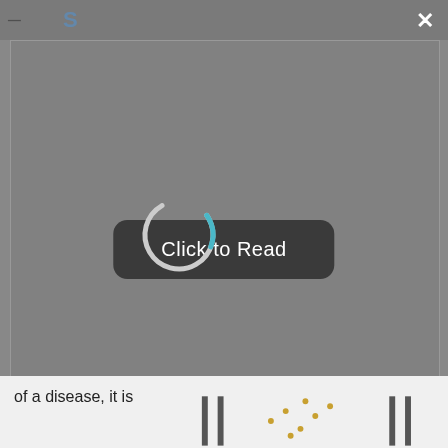[Figure (screenshot): A modal dialog overlay on a blurred medical document page. The modal has a grey semi-transparent background covering most of the page. In the center of the modal is a dark rounded-rectangle button labeled 'Click to Read' in white text, with a partially visible loading spinner circle (teal/white arc) overlapping the top of the button. The top of the page shows a partial navigation bar with a hamburger menu icon, partial blue title text, and a white × close button in the top-right corner. The bottom of the page shows partially visible text reading 'of a disease, it is' and partial chart graphics.]